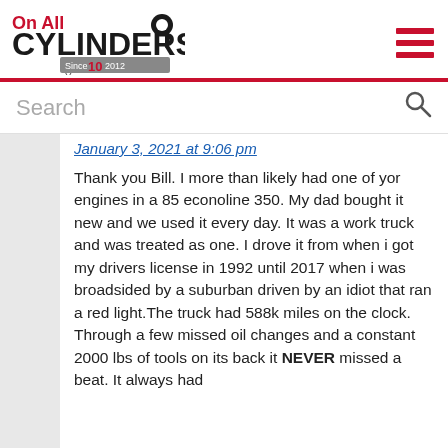On All Cylinders — 10 Years
Search
January 3, 2021 at 9:06 pm

Thank you Bill. I more than likely had one of yor engines in a 85 econoline 350. My dad bought it new and we used it every day. It was a work truck and was treated as one. I drove it from when i got my drivers license in 1992 until 2017 when i was broadsided by a suburban driven by an idiot that ran a red light.The truck had 588k miles on the clock. Through a few missed oil changes and a constant 2000 lbs of tools on its back it NEVER missed a beat. It always had